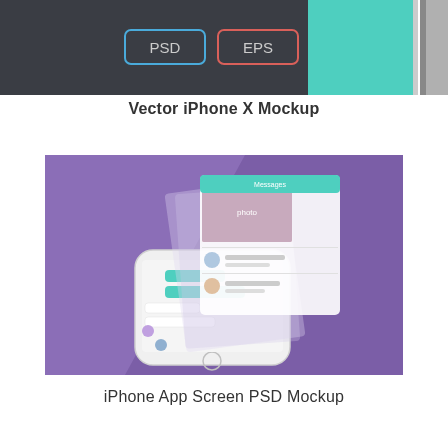[Figure (screenshot): Top portion of a dark-themed UI showing two rounded-rectangle buttons labeled 'PSD' (blue outline) and 'EPS' (red outline) on a dark gray background, with a teal/green panel visible on the right side and a thin smartphone frame edge.]
Vector iPhone X Mockup
[Figure (photo): A white iPhone lying flat at an angle on a purple background with a diagonal lighter-purple stripe. The phone screen shows a social/chat app UI with user avatars, photos, and teal-colored chat interface elements. A translucent layered effect shows the screen content appearing to float above the phone.]
iPhone App Screen PSD Mockup